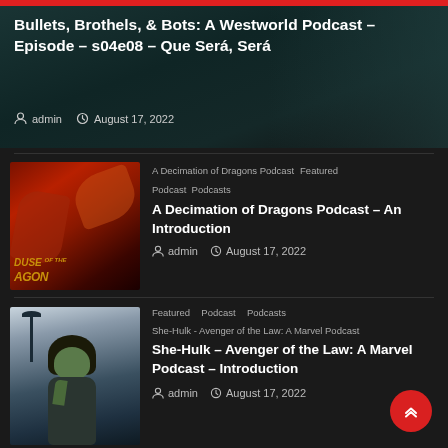[Figure (screenshot): Podcast listing page on dark background. Top card shows Westworld podcast with dark teal background. Two smaller cards below show House of the Dragon podcast and She-Hulk podcast listings.]
Bullets, Brothels, & Bots: A Westworld Podcast – Episode – s04e08 – Que Será, Será
admin  August 17, 2022
A Decimation of Dragons Podcast  Featured Podcast  Podcasts
A Decimation of Dragons Podcast – An Introduction
admin  August 17, 2022
Featured  Podcast  Podcasts
She-Hulk - Avenger of the Law: A Marvel Podcast
She-Hulk – Avenger of the Law: A Marvel Podcast – Introduction
admin  August 17, 2022